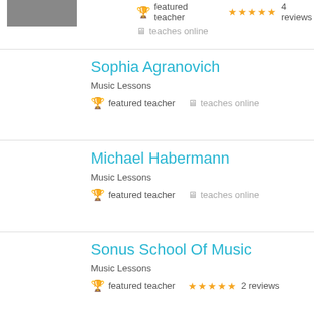[Figure (photo): Teacher profile photo thumbnail (partially visible at top left)]
featured teacher ★★★★★ 4 reviews teaches online
Sophia Agranovich
Music Lessons
featured teacher  teaches online
Michael Habermann
Music Lessons
featured teacher  teaches online
Sonus School Of Music
Music Lessons
featured teacher ★★★★★ 2 reviews